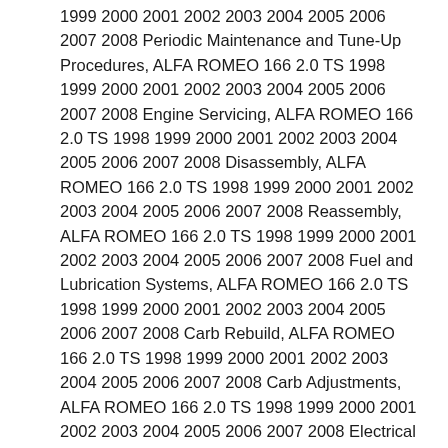1999 2000 2001 2002 2003 2004 2005 2006 2007 2008 Periodic Maintenance and Tune-Up Procedures, ALFA ROMEO 166 2.0 TS 1998 1999 2000 2001 2002 2003 2004 2005 2006 2007 2008 Engine Servicing, ALFA ROMEO 166 2.0 TS 1998 1999 2000 2001 2002 2003 2004 2005 2006 2007 2008 Disassembly, ALFA ROMEO 166 2.0 TS 1998 1999 2000 2001 2002 2003 2004 2005 2006 2007 2008 Reassembly, ALFA ROMEO 166 2.0 TS 1998 1999 2000 2001 2002 2003 2004 2005 2006 2007 2008 Fuel and Lubrication Systems, ALFA ROMEO 166 2.0 TS 1998 1999 2000 2001 2002 2003 2004 2005 2006 2007 2008 Carb Rebuild, ALFA ROMEO 166 2.0 TS 1998 1999 2000 2001 2002 2003 2004 2005 2006 2007 2008 Carb Adjustments, ALFA ROMEO 166 2.0 TS 1998 1999 2000 2001 2002 2003 2004 2005 2006 2007 2008 Electrical System, ALFA ROMEO 166 2.0 TS 1998 1999 2000 2001 2002 2003 2004 2005 2006 2007 2008 Ignition,